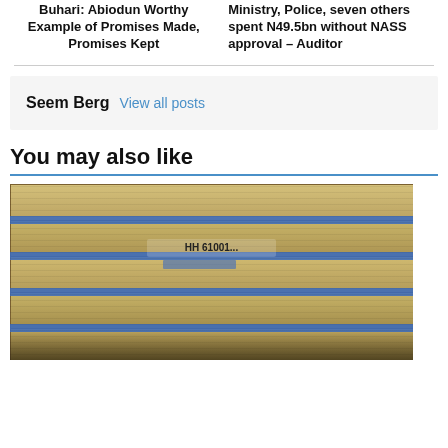Buhari: Abiodun Worthy Example of Promises Made, Promises Kept
Ministry, Police, seven others spent N49.5bn without NASS approval – Auditor
Seem Berg  View all posts
You may also like
[Figure (photo): Stacks of bundled US $100 bills piled on top of each other, with blue currency bands visible]